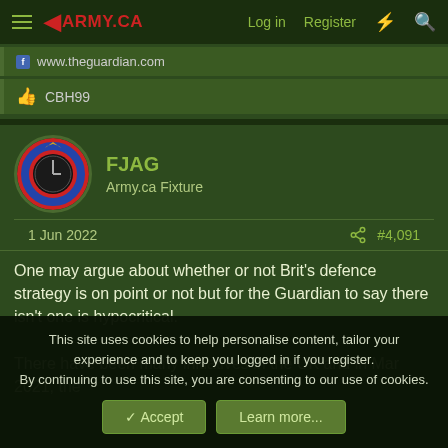ARMY.CA — Log in  Register
www.theguardian.com
CBH99
FJAG
Army.ca Fixture
1 Jun 2022   #4,091
One may argue about whether or not Brit's defence strategy is on point or not but for the Guardian to say there isn't one is hypocritical.

There have been many initiatives in the UK and in Mar 2021, the
This site uses cookies to help personalise content, tailor your experience and to keep you logged in if you register.
By continuing to use this site, you are consenting to our use of cookies.
Accept  Learn more...